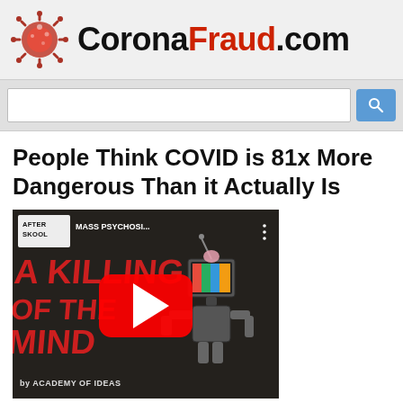CoronaFraud.com
[Figure (screenshot): Search bar with blue search button]
People Think COVID is 81x More Dangerous Than it Actually Is
[Figure (screenshot): YouTube video thumbnail: After Skool - MASS PSYCHOSI... A Killing of the Mind by Academy of Ideas, with YouTube play button overlay]